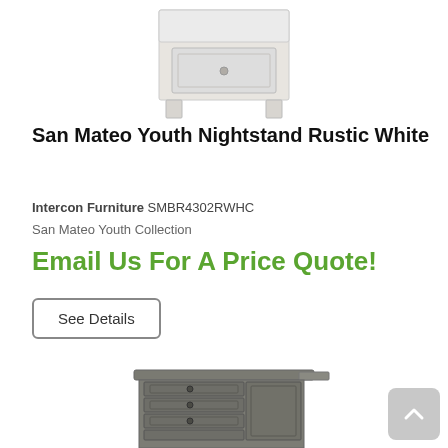[Figure (photo): Top portion of a white nightstand furniture product photo, cropped, showing the upper part of a San Mateo Youth Nightstand in Rustic White finish]
San Mateo Youth Nightstand Rustic White
Intercon Furniture SMBR4302RWHC
San Mateo Youth Collection
Email Us For A Price Quote!
See Details
[Figure (photo): Bottom portion of a dark gray/grey tall chest nightstand furniture product photo, showing drawers and a door, partially cropped at the bottom of the page]